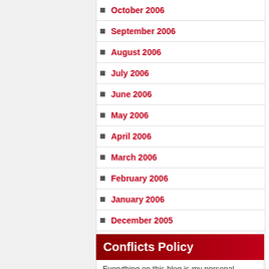October 2006
September 2006
August 2006
July 2006
June 2006
May 2006
April 2006
March 2006
February 2006
January 2006
December 2005
November 2005
October 2005
September 2005
August 2005
July 2005
Conflicts Policy
Everything on this blog is my personal opinion